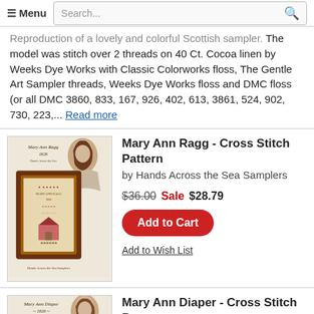≡ Menu  Search...
Reproduction of a lovely and colorful Scottish sampler. The model was stitch over 2 threads on 40 Ct. Cocoa linen by Weeks Dye Works with Classic Colorworks floss, The Gentle Art Sampler threads, Weeks Dye Works floss and DMC floss (or all DMC 3860, 833, 167, 926, 402, 613, 3861, 524, 902, 730, 223,... Read more
[Figure (photo): Product image for Mary Ann Ragg 1826 cross stitch sampler pattern by Hands Across the Sea Samplers, showing a framed needlework sampler with decorative motifs and a portrait of a woman]
Mary Ann Ragg - Cross Stitch Pattern by Hands Across the Sea Samplers
$36.00 Sale $28.79
Add to Cart
Add to Wish List
[Figure (photo): Partial product image for Mary Ann Diaper 1826 cross stitch pattern]
Mary Ann Diaper - Cross Stitch Pattern